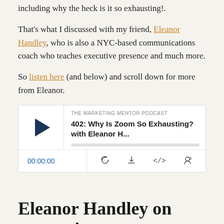including why the heck is it so exhausting!.
That's what I discussed with my friend, Eleanor Handley, who is also a NYC-based communications coach who teaches executive presence and much more.
So listen here (and below) and scroll down for more from Eleanor.
[Figure (other): Podcast player widget for 'The Marketing Mentor Podcast' episode 402: Why Is Zoom So Exhausting? with Eleanor H...  Shows play button, progress bar, time 00:00:00, and controls for RSS, download, embed, and share.]
Eleanor Handley on presenting remotely